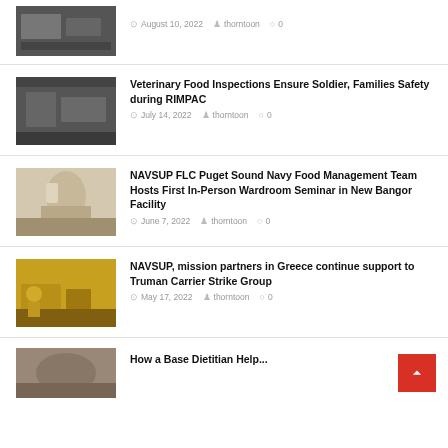August 10, 2022 · thorntoon · 0
Veterinary Food Inspections Ensure Soldier, Families Safety during RIMPAC
July 14, 2022 · thorntoon · 0
NAVSUP FLC Puget Sound Navy Food Management Team Hosts First In-Person Wardroom Seminar in New Bangor Facility
June 7, 2022 · thorntoon · 0
NAVSUP, mission partners in Greece continue support to Truman Carrier Strike Group
May 17, 2022 · thorntoon · 0
How a Base Dietitian Helps...